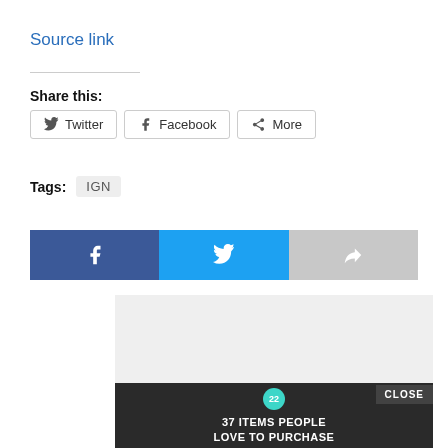Source link
Share this:
[Figure (screenshot): Three share buttons: Twitter, Facebook, More]
Tags: IGN
[Figure (screenshot): Social media share bar with Facebook (blue), Twitter (light blue), and Share (gray) buttons]
[Figure (screenshot): Advertisement area with a gray placeholder box and an overlay ad showing '37 ITEMS PEOPLE LOVE TO PURCHASE ON AMAZON' with a CLOSE button]